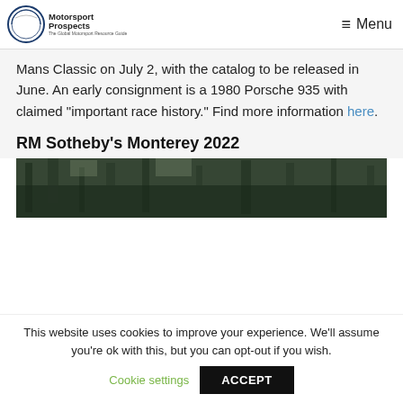Motorsport Prospects — Menu
Mans Classic on July 2, with the catalog to be released in June. An early consignment is a 1980 Porsche 935 with claimed "important race history." Find more information here.
RM Sotheby's Monterey 2022
[Figure (photo): Dark outdoor photo showing trees, appears to be part of a motorsport event venue or environment.]
This website uses cookies to improve your experience. We'll assume you're ok with this, but you can opt-out if you wish.
Cookie settings  ACCEPT